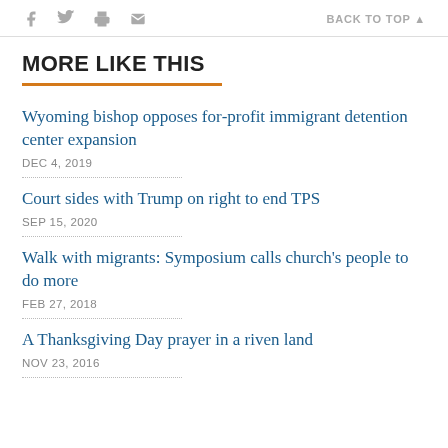f  [twitter]  [print]  [mail]    BACK TO TOP ▲
MORE LIKE THIS
Wyoming bishop opposes for-profit immigrant detention center expansion
DEC 4, 2019
Court sides with Trump on right to end TPS
SEP 15, 2020
Walk with migrants: Symposium calls church's people to do more
FEB 27, 2018
A Thanksgiving Day prayer in a riven land
NOV 23, 2016